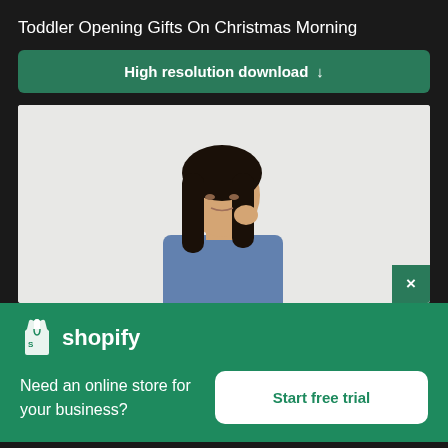Toddler Opening Gifts On Christmas Morning
High resolution download ↓
[Figure (photo): Photo of an Asian woman with long dark hair looking slightly downward, against a light grey/white background, appearing to be a stock photo]
× (close button)
[Figure (logo): Shopify logo — shopping bag icon with 'shopify' wordmark in white]
Need an online store for your business?
Start free trial